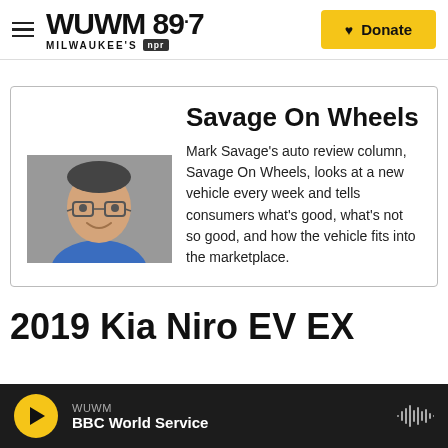WUWM 89.7 MILWAUKEE'S NPR | Donate
[Figure (illustration): WUWM 89.7 Milwaukee's NPR logo with hamburger menu on the left and a yellow Donate button on the right]
Savage On Wheels
[Figure (photo): Headshot of Mark Savage, a man with glasses and a blue shirt, smiling]
Mark Savage's auto review column, Savage On Wheels, looks at a new vehicle every week and tells consumers what's good, what's not so good, and how the vehicle fits into the marketplace.
2019 Kia Niro EV EX
WUWM BBC World Service (player bar)